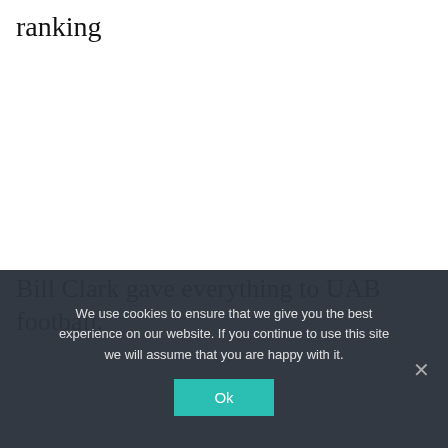ranking
Bill Clark gave everything to UAB football.
We use cookies to ensure that we give you the best experience on our website. If you continue to use this site we will assume that you are happy with it.
Ok